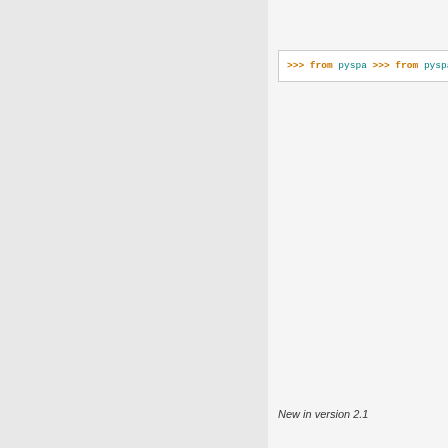[Figure (screenshot): Python REPL code block showing pyspark imports and multiple data/df/df.select/Row(json=...) lines, truncated at right edge]
New in version 2.1